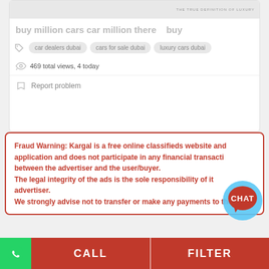[Figure (screenshot): Partial car listing image at top, greyed out/blurred]
buy million cars car million there  buy
car dealers dubai   cars for sale dubai   luxury cars dubai
469 total views, 4 today
Report problem
Fraud Warning: Kargal is a free online classifieds website and application and does not participate in any financial transactions between the advertiser and the user/buyer. The legal integrity of the ads is the sole responsibility of its advertiser. We strongly advise not to transfer or make any payments to the
[Figure (illustration): Red and blue chat bubble icon with CHAT text]
CALL
FILTER